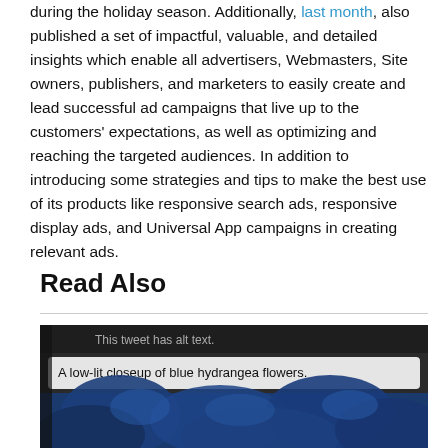during the holiday season. Additionally, last month, also published a set of impactful, valuable, and detailed insights which enable all advertisers, Webmasters, Site owners, publishers, and marketers to easily create and lead successful ad campaigns that live up to the customers' expectations, as well as optimizing and reaching the targeted audiences. In addition to introducing some strategies and tips to make the best use of its products like responsive search ads, responsive display ads, and Universal App campaigns in creating relevant ads.
Read Also
[Figure (screenshot): Screenshot of a tweet showing alt text feature with a low-lit closeup of blue hydrangea flowers.]